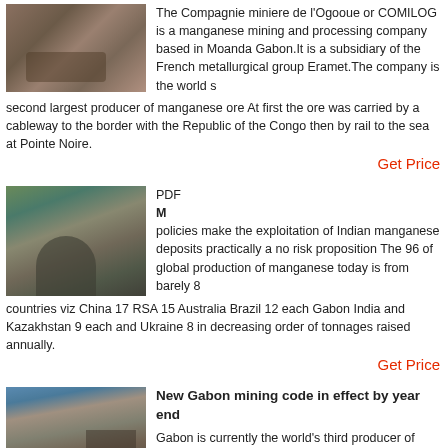[Figure (photo): Industrial mining equipment, cylindrical machinery in a facility]
The Compagnie miniere de l'Ogooue or COMILOG is a manganese mining and processing company based in Moanda Gabon.It is a subsidiary of the French metallurgical group Eramet.The company is the world s second largest producer of manganese ore At first the ore was carried by a cableway to the border with the Republic of the Congo then by rail to the sea at Pointe Noire.
Get Price
[Figure (photo): Industrial mining processing plant structure on a hillside]
PDF
M
policies make the exploitation of Indian manganese deposits practically a no risk proposition The 96 of global production of manganese today is from barely 8 countries viz China 17 RSA 15 Australia Brazil 12 each Gabon India and Kazakhstan 9 each and Ukraine 8 in decreasing order of tonnages raised annually.
Get Price
[Figure (photo): Outdoor mining operation with conveyor equipment under blue sky]
New Gabon mining code in effect by year end
Gabon is currently the world's third producer of manganese behind South Africa and Australia 95 of the